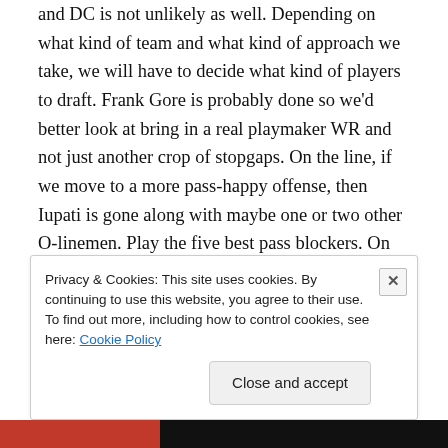and DC is not unlikely as well. Depending on what kind of team and what kind of approach we take, we will have to decide what kind of players to draft. Frank Gore is probably done so we'd better look at bring in a real playmaker WR and not just another crop of stopgaps. On the line, if we move to a more pass-happy offense, then Iupati is gone along with maybe one or two other O-linemen. Play the five best pass blockers. On defense, Brooks is gone, with Lynch being the
Privacy & Cookies: This site uses cookies. By continuing to use this website, you agree to their use.
To find out more, including how to control cookies, see here: Cookie Policy